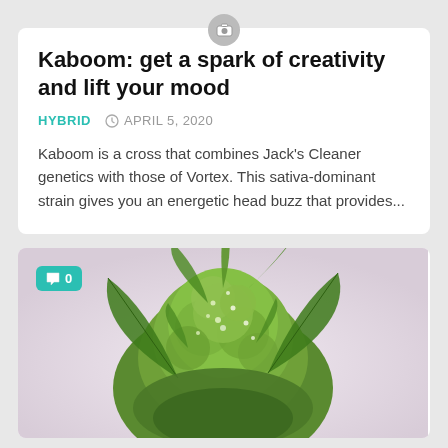Kaboom: get a spark of creativity and lift your mood
HYBRID   APRIL 5, 2020
Kaboom is a cross that combines Jack's Cleaner genetics with those of Vortex. This sativa-dominant strain gives you an energetic head buzz that provides...
[Figure (photo): Close-up photo of a green cannabis bud/flower against a light background, with a teal comment badge showing '0' in the top left corner]